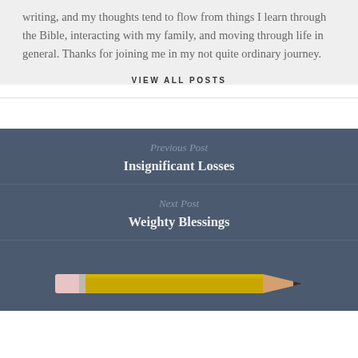writing, and my thoughts tend to flow from things I learn through the Bible, interacting with my family, and moving through life in general. Thanks for joining me in my not quite ordinary journey.
VIEW ALL POSTS
Previous Post
Insignificant Losses
Next Post
Weighty Blessings
[Figure (illustration): A yellow pencil illustration pointing to the right, with a pink eraser on the left end and a sharpened tip on the right, shown at the bottom of a dark blue-gray background.]